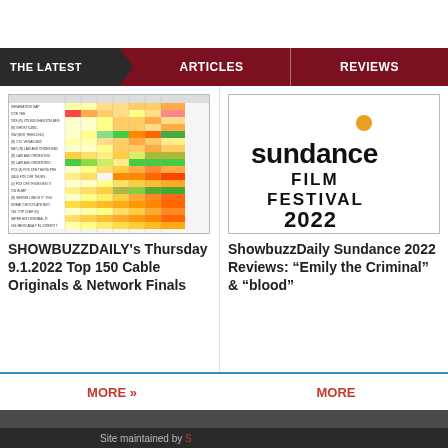THE LATEST | ARTICLES | REVIEWS
[Figure (table-as-image): Cable ratings table thumbnail showing show names, networks, and viewership numbers with color-coded cells]
SHOWBUZZDAILY's Thursday 9.1.2022 Top 150 Cable Originals & Network Finals
[Figure (logo): Sundance Film Festival 2022 logo with orange dot above text]
ShowbuzzDaily Sundance 2022 Reviews: “Emily the Criminal” & “blood”
MORE »
MORE
Site maintained by S